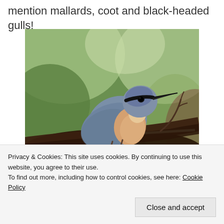mention mallards, coot and black-headed gulls!
[Figure (photo): Close-up photograph of a nuthatch bird perched on a tree branch, showing its blue-grey plumage, orange-buff underparts, and distinctive black eye stripe, with a blurred green and brown woodland background.]
Privacy & Cookies: This site uses cookies. By continuing to use this website, you agree to their use.
To find out more, including how to control cookies, see here: Cookie Policy
Close and accept